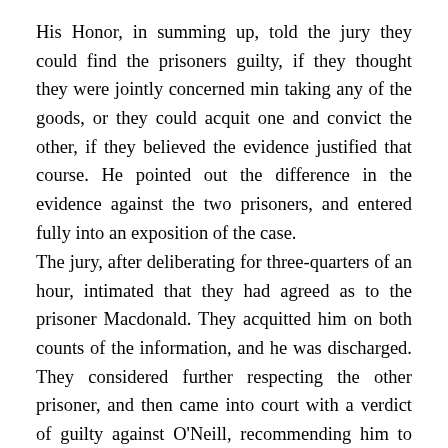His Honor, in summing up, told the jury they could find the prisoners guilty, if they thought they were jointly concerned min taking any of the goods, or they could acquit one and convict the other, if they believed the evidence justified that course. He pointed out the difference in the evidence against the two prisoners, and entered fully into an exposition of the case.
The jury, after deliberating for three-quarters of an hour, intimated that they had agreed as to the prisoner Macdonald. They acquitted him on both counts of the information, and he was discharged. They considered further respecting the other prisoner, and then came into court with a verdict of guilty against O'Neill, recommending him to mercy